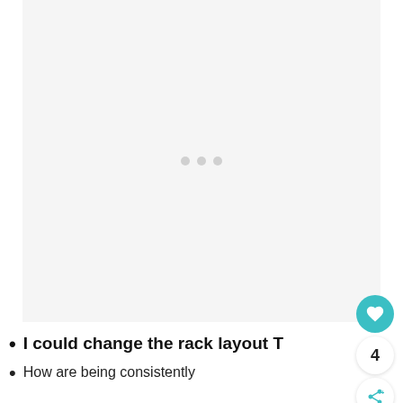[Figure (photo): Large light gray image placeholder area with three small gray dots in the center, resembling a loading or placeholder image state]
I could change the rack layout T
How are being consistently